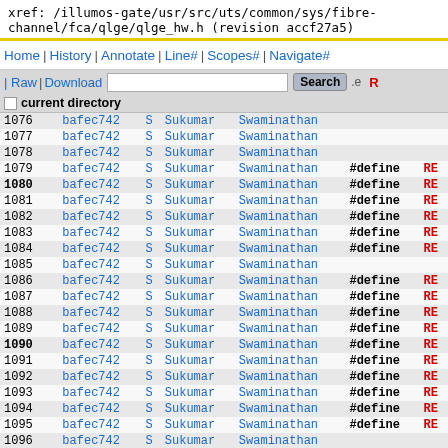xref: /illumos-gate/usr/src/uts/common/sys/fibre-channel/fca/qlge/qlge_hw.h (revision accf27a5)
Home | History | Annotate | Line# | Scopes# | Navigate#
| Raw | Download   [Search]  .e  RE
current directory
| line | rev | S | author1 | author2 | define | RE |
| --- | --- | --- | --- | --- | --- | --- |
| 1076 | bafec742 | S | Sukumar | Swaminathan |  |  |
| 1077 | bafec742 | S | Sukumar | Swaminathan |  |  |
| 1078 | bafec742 | S | Sukumar | Swaminathan |  |  |
| 1079 | bafec742 | S | Sukumar | Swaminathan | #define | RE |
| 1080 | bafec742 | S | Sukumar | Swaminathan | #define | RE |
| 1081 | bafec742 | S | Sukumar | Swaminathan | #define | RE |
| 1082 | bafec742 | S | Sukumar | Swaminathan | #define | RE |
| 1083 | bafec742 | S | Sukumar | Swaminathan | #define | RE |
| 1084 | bafec742 | S | Sukumar | Swaminathan | #define | RE |
| 1085 | bafec742 | S | Sukumar | Swaminathan |  |  |
| 1086 | bafec742 | S | Sukumar | Swaminathan | #define | RE |
| 1087 | bafec742 | S | Sukumar | Swaminathan | #define | RE |
| 1088 | bafec742 | S | Sukumar | Swaminathan | #define | RE |
| 1089 | bafec742 | S | Sukumar | Swaminathan | #define | RE |
| 1090 | bafec742 | S | Sukumar | Swaminathan | #define | RE |
| 1091 | bafec742 | S | Sukumar | Swaminathan | #define | RE |
| 1092 | bafec742 | S | Sukumar | Swaminathan | #define | RE |
| 1093 | bafec742 | S | Sukumar | Swaminathan | #define | RE |
| 1094 | bafec742 | S | Sukumar | Swaminathan | #define | RE |
| 1095 | bafec742 | S | Sukumar | Swaminathan | #define | RE |
| 1096 | bafec742 | S | Sukumar | Swaminathan |  |  |
| 1097 | bafec742 | S | Sukumar | Swaminathan | #define | RE |
| 1098 | bafec742 | S | Sukumar | Swaminathan | #define | RE |
| 1099 | bafec742 | S | Sukumar | Swaminathan | #define | RE |
| 1100 | bafec742 | S | Sukumar | Swaminathan | #define | RE |
| 1101 | bafec742 | S | Sukumar | Swaminathan | #define | RE |